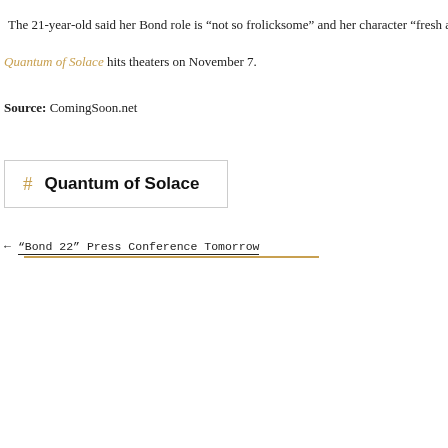The 21-year-old said her Bond role is "not so frolicksome" and her character "fresh a…
Quantum of Solace hits theaters on November 7.
Source: ComingSoon.net
# Quantum of Solace
← "Bond 22" Press Conference Tomorrow